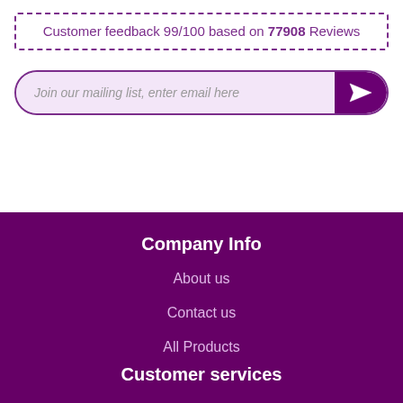Customer feedback 99/100 based on 77908 Reviews
Join our mailing list, enter email here
Company Info
About us
Contact us
All Products
Customer services
Our Terms
Privacy Policy